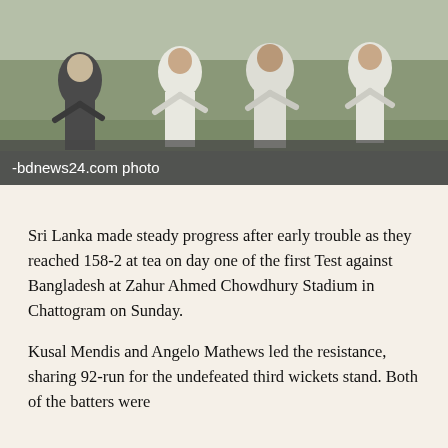[Figure (photo): Cricket players in white uniforms on a green field, with a semi-transparent gray overlay at the bottom containing the caption text '-bdnews24.com photo']
-bdnews24.com photo
Sri Lanka made steady progress after early trouble as they reached 158-2 at tea on day one of the first Test against Bangladesh at Zahur Ahmed Chowdhury Stadium in Chattogram on Sunday.
Kusal Mendis and Angelo Mathews led the resistance, sharing 92-run for the undefeated third wickets stand. Both of the batters were